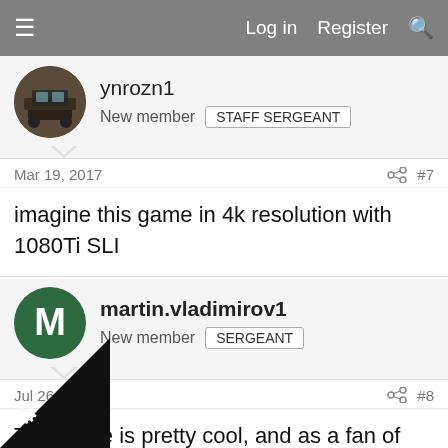Log in   Register
ynrozn1
New member   STAFF SERGEANT
Mar 19, 2017   #7
imagine this game in 4k resolution with 1080Ti SLI
martin.vladimirov1
New member   SERGEANT
Jul 26, 2017   #8
The game is pretty cool, and as a fan of the franchise I must admit a breath of fresh air. The usual characters are not but it is still nice and great experience. And the 1060 t experience.